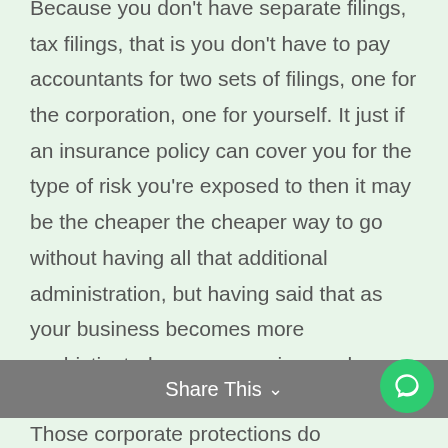Because you don't have separate filings, tax filings, that is you don't have to pay accountants for two sets of filings, one for the corporation, one for yourself. It just if an insurance policy can cover you for the type of risk you're exposed to then it may be the cheaper the cheaper way to go without having all that additional administration, but having said that as your business becomes more sophisticated, as you acquire employees and those sorts of things.
Share This ∨  ✕
Those corporate protections do